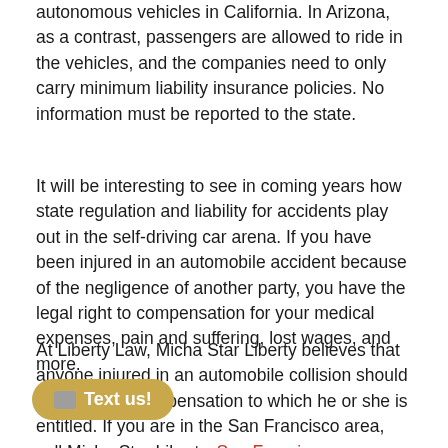autonomous vehicles in California. In Arizona, as a contrast, passengers are allowed to ride in the vehicles, and the companies need to only carry minimum liability insurance policies. No information must be reported to the state.
It will be interesting to see in coming years how state regulation and liability for accidents play out in the self-driving car arena. If you have been injured in an automobile accident because of the negligence of another party, you have the legal right to compensation for your medical expenses, pain and suffering, lost wages, and more.
At Liberty Law, Micha Star Liberty believes that anyone injured in an automobile collision should seek the full compensation to which he or she is entitled. If you are in the San Francisco area, call Micha Star Liberty, San Francisco automobile accident attorney, at 510-645- [with clients throughout the area, including Hayward, Fairfield, San Jose, Tracy, Oakland,